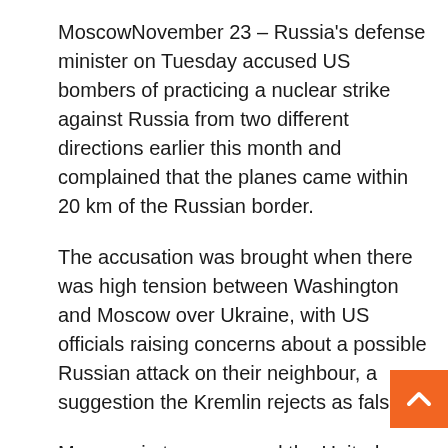MoscowNovember 23 – Russia's defense minister on Tuesday accused US bombers of practicing a nuclear strike against Russia from two different directions earlier this month and complained that the planes came within 20 km of the Russian border.
The accusation was brought when there was high tension between Washington and Moscow over Ukraine, with US officials raising concerns about a possible Russian attack on their neighbour, a suggestion the Kremlin rejects as false.
Moscow, in turn, accused the United States of OTAN and Ukraine from provocative and irresponsible behavior, through US arms supp to Ukraine, the use of Turkish drones against Russian-backed separatists in eastern Ukraine, and